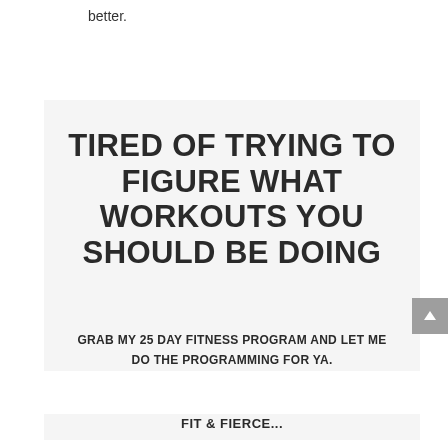better.
TIRED OF TRYING TO FIGURE WHAT WORKOUTS YOU SHOULD BE DOING
GRAB MY 25 DAY FITNESS PROGRAM AND LET ME DO THE PROGRAMMING FOR YA.
FIT & FIERCE...